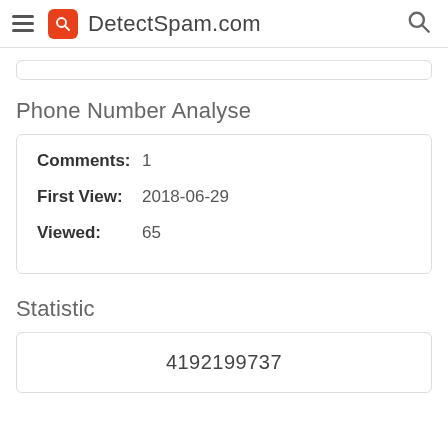DetectSpam.com
Phone Number Analyse
Comments: 1
First View: 2018-06-29
Viewed: 65
Statistic
4192199737